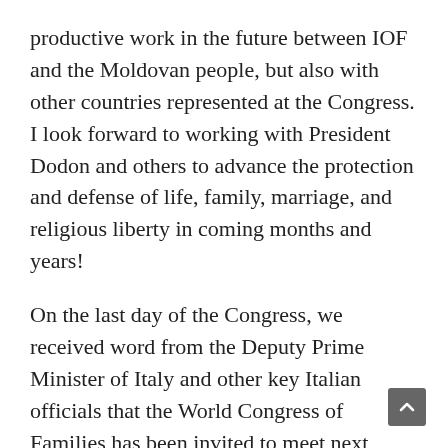productive work in the future between IOF and the Moldovan people, but also with other countries represented at the Congress. I look forward to working with President Dodon and others to advance the protection and defense of life, family, marriage, and religious liberty in coming months and years!
On the last day of the Congress, we received word from the Deputy Prime Minister of Italy and other key Italian officials that the World Congress of Families has been invited to meet next March in Verona, Italy! This is a wonderful opportunity for which we're extremely grateful – but it means that we have only a few short months to begin preparing.
We could use your help today to begin working toward our next success in Verona. We need to begin promoting and organizing right away, and we need